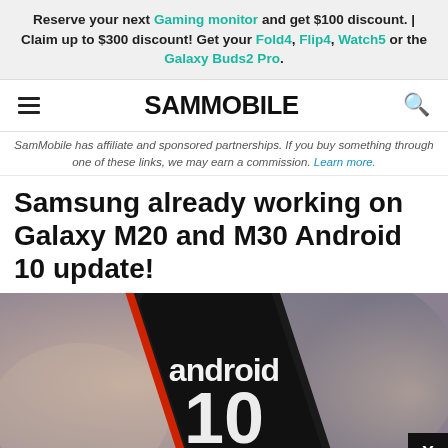Reserve your next Gaming monitor and get $100 discount. | Claim up to $300 discount! Get your Fold4, Flip4, Watch5 or the Galaxy Buds2 Pro.
SAMMOBILE
SamMobile has affiliate and sponsored partnerships. If you buy something through one of these links, we may earn a commission. Learn more.
Samsung already working on Galaxy M20 and M30 Android 10 update!
[Figure (photo): Close-up photo of a smartphone displaying the Android 10 logo (text 'android' and large '10') on its screen, held in a hand, with a blurred background. A black X close button is overlaid at the bottom right.]